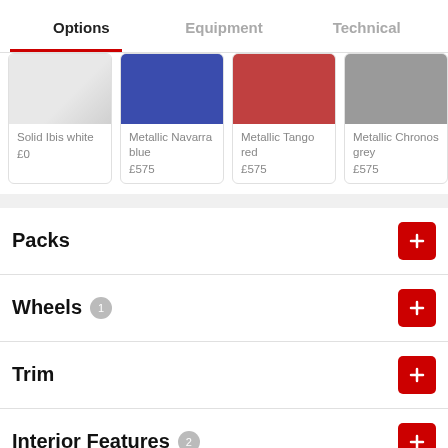Options | Equipment | Technical
[Figure (other): Color swatches row showing: Solid Ibis white £0, Metallic Navarra blue £575, Metallic Tango red £575, Metallic Chronos grey £575]
Packs
Wheels 1
Trim
Interior Features 2
Exterior Features